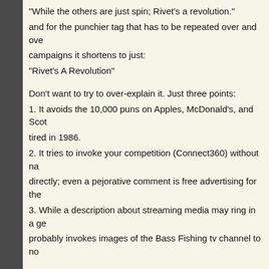"While the others are just spin; Rivet's a revolution." and for the punchier tag that has to be repeated over and over in campaigns it shortens to just: "Rivet's A Revolution"
Don't want to try to over-explain it. Just three points:
1. It avoids the 10,000 puns on Apples, McDonald's, and Scot tired in 1986.
2. It tries to invoke your competition (Connect360) without naming directly; even a pejorative comment is free advertising for them.
3. While a description about streaming media may ring in a ge probably invokes images of the Bass Fishing tv channel to no
Oh heck, just take it to the other extreme with this alternative "Rivet: Streaming Media without the Bait & Switch"
Heinrich
Posted 15 Apr 2008 at 4:52pm #
Rivet: Attach your media.